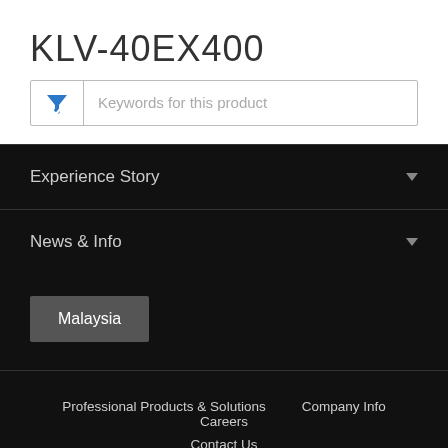KLV-40EX400
[Figure (screenshot): Search bar with blue funnel/filter icon and placeholder text 'Keywords for this product']
Experience Story
News & Info
Malaysia
Professional Products & Solutions   Company Info   Careers   Contact Us